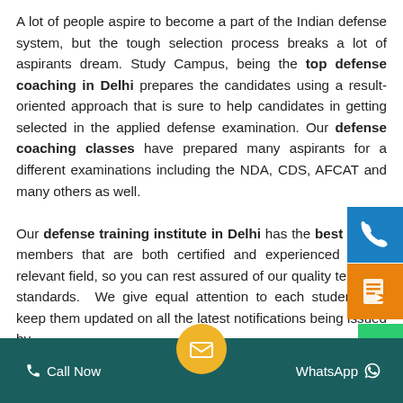A lot of people aspire to become a part of the Indian defense system, but the tough selection process breaks a lot of aspirants dream. Study Campus, being the top defense coaching in Delhi prepares the candidates using a result-oriented approach that is sure to help candidates in getting selected in the applied defense examination. Our defense coaching classes have prepared many aspirants for a different examinations including the NDA, CDS, AFCAT and many others as well.

Our defense training institute in Delhi has the best faculty members that are both certified and experienced in the relevant field, so you can rest assured of our quality teaching standards. We give equal attention to each student and keep them updated on all the latest notifications being issued by
[Figure (other): Blue sidebar button with phone icon]
[Figure (other): Orange sidebar button with form/list icon]
Call Now   [email icon]   WhatsApp